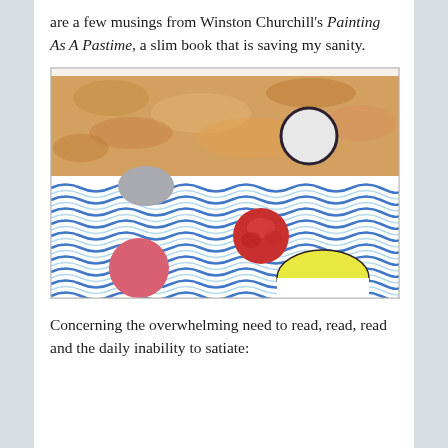are a few musings from Winston Churchill's Painting As A Pastime, a slim book that is saving my sanity.
[Figure (illustration): A child's or amateur watercolor painting showing a wavy blue sea/ocean scene with colorful circular shapes: a gray circle (upper left), a dark-outlined white circle (upper right), a red rose-like circle (center right), a yellow half-circle (lower right), and a pink/red circle (lower left). The upper portion shows an orange/sandy sky.]
Concerning the overwhelming need to read, read, read and the daily inability to satiate: